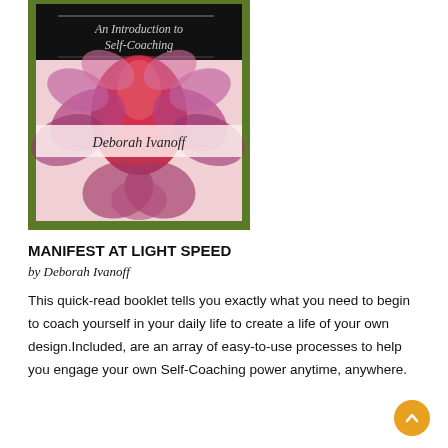[Figure (illustration): Book cover of 'Manifest at Light Speed: An Introduction to Self-Coaching' by Deborah Ivanoff. Dark olive/green border, black title panel at top with italic white text reading 'An Introduction to Self-Coaching', large floral/petal abstract artwork in pink and red tones fills the center, and a translucent white banner across the middle reads 'Deborah Ivanoff'.]
MANIFEST AT LIGHT SPEED
by Deborah Ivanoff
This quick-read booklet tells you exactly what you need to begin to coach yourself in your daily life to create a life of your own design.Included, are an array of easy-to-use processes to help you engage your own Self-Coaching power anytime, anywhere.